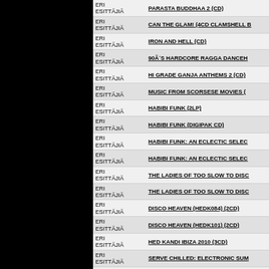| Artist | Title |
| --- | --- |
| ERI ESITTÄJIÄ | PARASTA BUDDHAA 2 (CD) |
| ERI ESITTÄJIÄ | CAN THE GLAM! (4CD CLAMSHELL B... |
| ERI ESITTÄJIÄ | IRON AND HELL (CD) |
| ERI ESITTÄJIÄ | 90Â´S HARDCORE RAGGA DANCEH... |
| ERI ESITTÄJIÄ | HI GRADE GANJA ANTHEMS 2 (CD) |
| ERI ESITTÄJIÄ | MUSIC FROM SCORSESE MOVIES (... |
| ERI ESITTÄJIÄ | HABIBI FUNK (2LP) |
| ERI ESITTÄJIÄ | HABIBI FUNK (DIGIPAK CD) |
| ERI ESITTÄJIÄ | HABIBI FUNK: AN ECLECTIC SELEC... |
| ERI ESITTÄJIÄ | HABIBI FUNK: AN ECLECTIC SELEC... |
| ERI ESITTÄJIÄ | THE LADIES OF TOO SLOW TO DISC... |
| ERI ESITTÄJIÄ | THE LADIES OF TOO SLOW TO DISC... |
| ERI ESITTÄJIÄ | DISCO HEAVEN (HEDK084) (2CD) |
| ERI ESITTÄJIÄ | DISCO HEAVEN (HEDK101) (2CD) |
| ERI ESITTÄJIÄ | HED KANDI IBIZA 2010 (3CD) |
| ERI ESITTÄJIÄ | SERVE CHILLED: ELECTRONIC SUM... |
| ERI ESITTÄJIÄ | DEEP HOUSE (2CD) |
| ERI ESITTÄJIÄ | BEACH HOUSE (121) (3CD) |